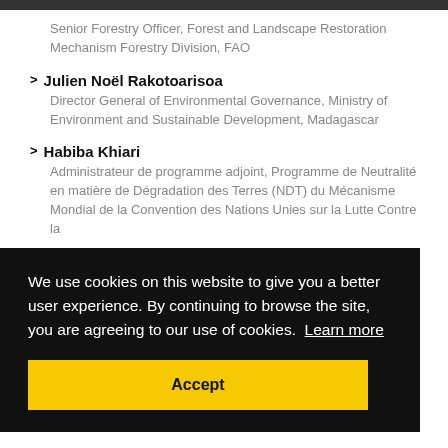Senior Forestry Officer, Forest and Landscape Restoration Mechanism Forestry Division, FAO
Julien Noël Rakotoarisoa — Director General of Environmental Governance, Ministry of Environment and Sustainable Development, Madagascar
Habiba Khiari — Administrateur de programme adjoint, Programme de Neutralité en matière de Dégradation des Terres (NDT) du Mécanisme Mondial de la Convention des Nations Unies sur la Lutte Contre la
We use cookies on this website to give you a better user experience. By continuing to browse the site, you are agreeing to our use of cookies. Learn more
Accept